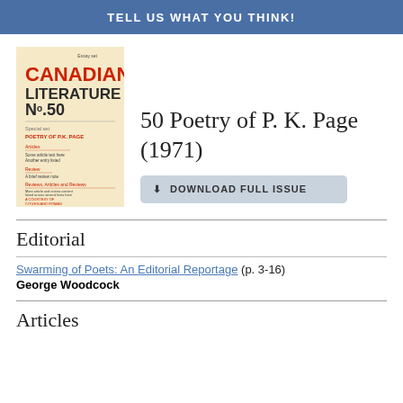TELL US WHAT YOU THINK!
[Figure (illustration): Cover of Canadian Literature No. 50, showing title 'CANADIAN LITERATURE No.50' in large text, with red 'CANADIAN' header and dark text 'LITERATURE No.50', listing articles including 'POETRY OF P.K. PAGE', on a yellow/cream background.]
50 Poetry of P. K. Page (1971)
DOWNLOAD FULL ISSUE
Editorial
Swarming of Poets: An Editorial Reportage (p. 3-16)
George Woodcock
Articles